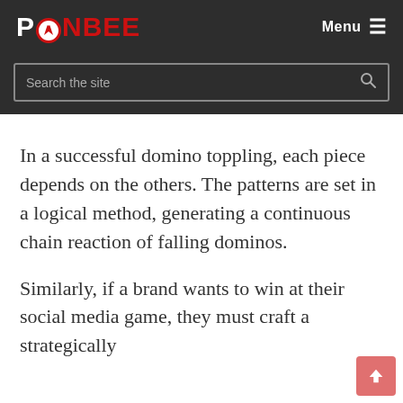PONBEE
Search the site
In a successful domino toppling, each piece depends on the others. The patterns are set in a logical method, generating a continuous chain reaction of falling dominos.
Similarly, if a brand wants to win at their social media game, they must craft a strategically